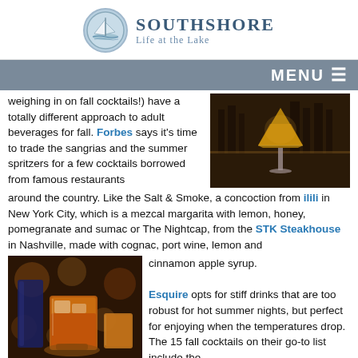[Figure (logo): Southshore Life at the Lake logo with sailboat in circular emblem]
MENU ☰
weighing in on fall cocktails!) have a totally different approach to adult beverages for fall. Forbes says it's time to trade the sangrias and the summer spritzers for a few cocktails borrowed from famous restaurants around the country. Like the Salt & Smoke, a concoction from ilili in New York City, which is a mezcal margarita with lemon, honey, pomegranate and sumac or The Nightcap, from the STK Steakhouse in Nashville, made with cognac, port wine, lemon and cinnamon apple syrup.
[Figure (photo): Cocktail martini glass with amber drink on dark bar background]
[Figure (photo): Fall cocktails in glasses with warm amber tones and bokeh background]
Esquire opts for stiff drinks that are too robust for hot summer nights, but perfect for enjoying when the temperatures drop. The 15 fall cocktails on their go-to list include the vintage Rob Roy (Scotch whisky, Italian vermouth and Angostura